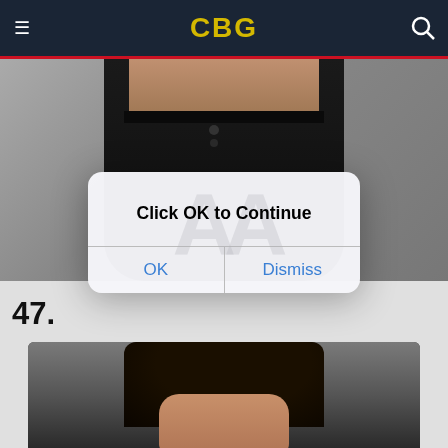CBG
[Figure (photo): Cropped photo showing a person's midsection wearing black fitted pants, torso visible above waistband, gray background]
[Figure (screenshot): iOS-style dialog box with text 'Click OK to Continue' and two buttons: OK and Dismiss]
47.
[Figure (photo): Close-up photo of a woman with dark straight hair, face partially visible, dark background]